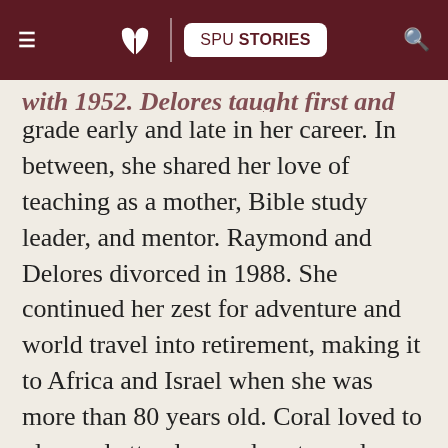SPU STORIES
grade early and late in her career. In between, she shared her love of teaching as a mother, Bible study leader, and mentor. Raymond and Delores divorced in 1988. She continued her zest for adventure and world travel into retirement, making it to Africa and Israel when she was more than 80 years old. Coral loved to plan and attend a good party, and was famous for her decorations, carrot-cake deliveries, and tea parties. It was important to her to have a colorful yard and bountiful garden. She is survived by two sons and two daughters, and eight grandchildren.